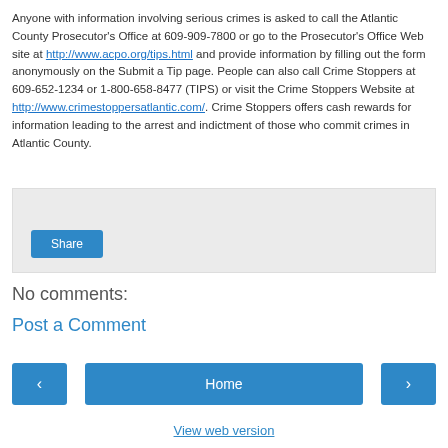Anyone with information involving serious crimes is asked to call the Atlantic County Prosecutor's Office at 609-909-7800 or go to the Prosecutor's Office Web site at http://www.acpo.org/tips.html and provide information by filling out the form anonymously on the Submit a Tip page. People can also call Crime Stoppers at 609-652-1234 or 1-800-658-8477 (TIPS) or visit the Crime Stoppers Website at http://www.crimestoppersatlantic.com/. Crime Stoppers offers cash rewards for information leading to the arrest and indictment of those who commit crimes in Atlantic County.
[Figure (other): Share widget box with a Share button]
No comments:
Post a Comment
< Home > View web version